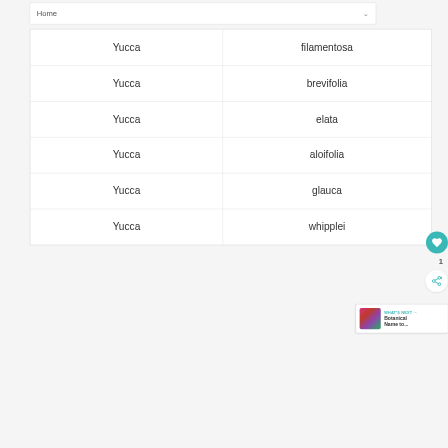Home
| Yucca | filamentosa |
| Yucca | brevifolia |
| Yucca | elata |
| Yucca | aloifolia |
| Yucca | glauca |
| Yucca | whipplei |
[Figure (infographic): Heart/like button (teal circle with heart icon), count of 1, share button, and 'WHAT'S NEXT' panel showing 'Botanical Name to...' with a thumbnail of colorful plant leaves.]